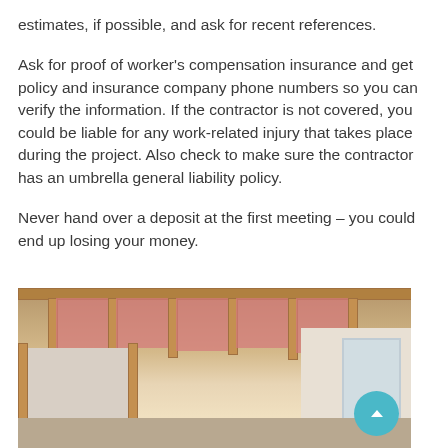estimates, if possible, and ask for recent references.
Ask for proof of worker's compensation insurance and get policy and insurance company phone numbers so you can verify the information. If the contractor is not covered, you could be liable for any work-related injury that takes place during the project. Also check to make sure the contractor has an umbrella general liability policy.
Never hand over a deposit at the first meeting – you could end up losing your money.
[Figure (photo): Interior construction photo showing exposed ceiling framing with pink insulation, wooden beams, and drywall walls in a partially completed room renovation.]